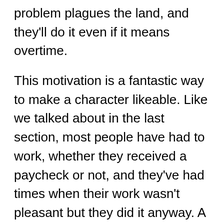problem plagues the land, and they'll do it even if it means overtime.
This motivation is a fantastic way to make a character likeable. Like we talked about in the last section, most people have had to work, whether they received a paycheck or not, and they've had times when their work wasn't pleasant but they did it anyway. A character who does the same is instantly relatable. At the same time, audiences love it when characters in positions of authority actually take their responsibility seriously and work for the common good. I suspect this is because we're so used to seeing authority figures abuse their power in real life.